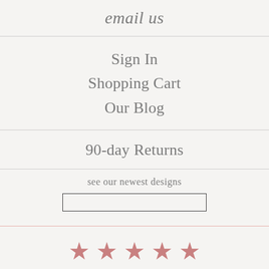email us
Sign In
Shopping Cart
Our Blog
90-day Returns
see our newest designs
[Figure (other): Empty text input box for email/newsletter signup]
[Figure (infographic): Five pink star rating icons in a row]